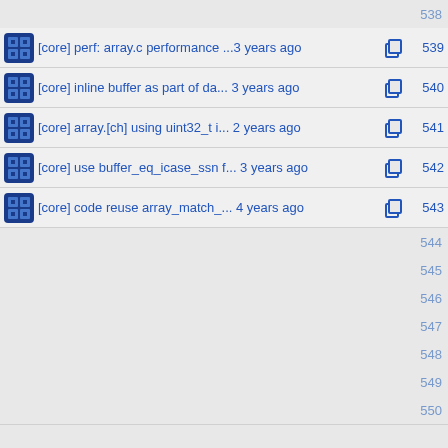538 (empty top row)
[core] perf: array.c performance ... 3 years ago  539
[core] inline buffer as part of da... 3 years ago  540
[core] array.[ch] using uint32_t i... 2 years ago  541
[core] use buffer_eq_icase_ssn f... 3 years ago  542
[core] code reuse array_match_... 4 years ago  543
544 (empty)
545 (empty)
546 (empty)
547 (empty)
548 (empty)
549 (empty)
550 (empty)
[core] array.[ch] using uint32_t i... 2 years ago  551
[core] code reuse array_match_... 4 years ago  552
[core] perf: array.c performance ...3 years ago  553
[core] code reuse array_match_... 4 years ago  554
[core] inline buffer as part of DA... 3 years ago  555
[core] array.[ch] using uint32_t i... 2 years ago  556
[core] code reuse array_match_... 4 years ago  557